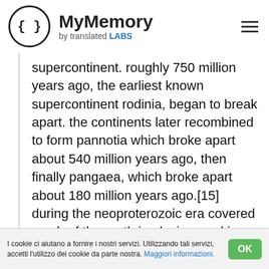MyMemory by translated LABS
supercontinent. roughly 750 million years ago, the earliest known supercontinent rodinia, began to break apart. the continents later recombined to form pannotia which broke apart about 540 million years ago, then finally pangaea, which broke apart about 180 million years ago.[15] during the neoproterozoic era covered much of the earth in glaciers and ice sheets. this hypothesis has been termed the "snowball earth", and it is of particular interest as it precedes the cambrian explosion in which multicellular life forms
I cookie ci aiutano a fornire i nostri servizi. Utilizzando tali servizi, accetti l'utilizzo dei cookie da parte nostra. Maggiori informazioni.